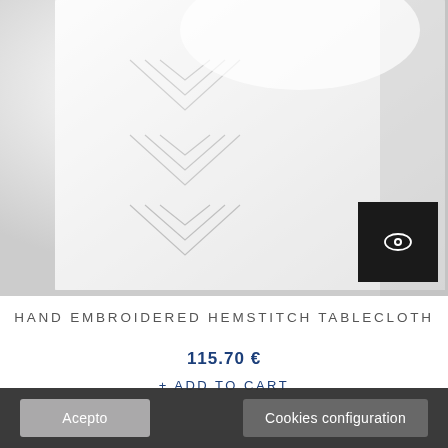[Figure (photo): Close-up of white hand embroidered hemstitch tablecloth fabric, showing geometric stitching pattern, cropped view with a dark eye/view quick-look icon button in the bottom right corner]
HAND EMBROIDERED HEMSTITCH TABLECLOTH
115.70 €
+ ADD TO CART
[Figure (photo): Partially visible photo of a table setting with white plate, silverware (fork and knife) on a light background — second product image]
Acepto
Cookies configuration